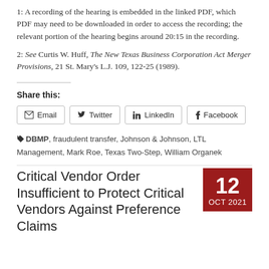1: A recording of the hearing is embedded in the linked PDF, which PDF may need to be downloaded in order to access the recording; the relevant portion of the hearing begins around 20:15 in the recording.
2: See Curtis W. Huff, The New Texas Business Corporation Act Merger Provisions, 21 St. Mary's L.J. 109, 122-25 (1989).
Share this:
Email | Twitter | LinkedIn | Facebook
DBMP, fraudulent transfer, Johnson & Johnson, LTL Management, Mark Roe, Texas Two-Step, William Organek
Critical Vendor Order Insufficient to Protect Critical Vendors Against Preference Claims
12 OCT 2021